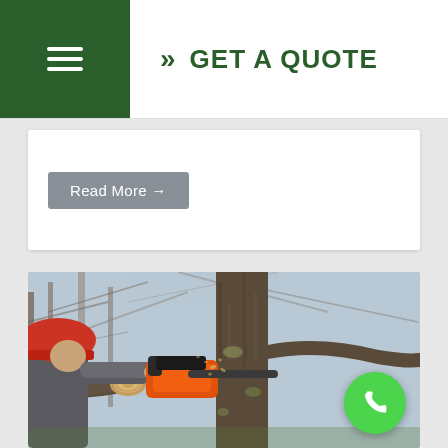GET A QUOTE
Read More →
[Figure (photo): A worker wearing a red hard hat uses an orange chainsaw to cut a large tree branch. Wood chips are visible flying from the cut. The background shows bare winter trees and grey sky.]